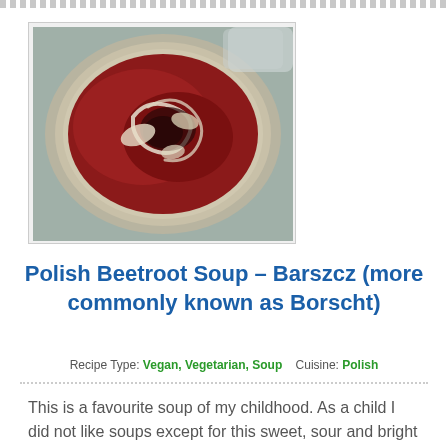[Figure (photo): Bowl of Polish Beetroot Soup (Barszcz/Borscht) viewed from above, showing deep red/crimson soup with swirls of cream/sour cream on top, served in a round bowl on a plate]
Polish Beetroot Soup – Barszcz (more commonly known as Borscht)
Recipe Type: Vegan, Vegetarian, Soup    Cuisine: Polish
This is a favourite soup of my childhood. As a child I did not like soups except for this sweet, sour and bright